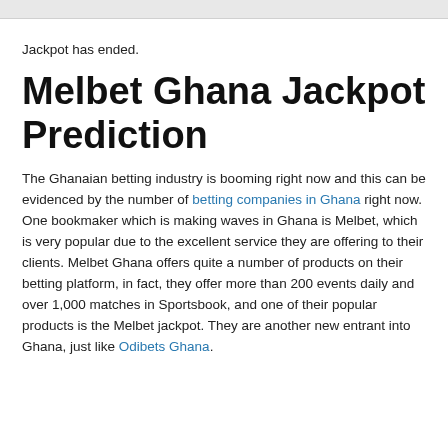Jackpot has ended.
Melbet Ghana Jackpot Prediction
The Ghanaian betting industry is booming right now and this can be evidenced by the number of betting companies in Ghana right now. One bookmaker which is making waves in Ghana is Melbet, which is very popular due to the excellent service they are offering to their clients. Melbet Ghana offers quite a number of products on their betting platform, in fact, they offer more than 200 events daily and over 1,000 matches in Sportsbook, and one of their popular products is the Melbet jackpot. They are another new entrant into Ghana, just like Odibets Ghana.